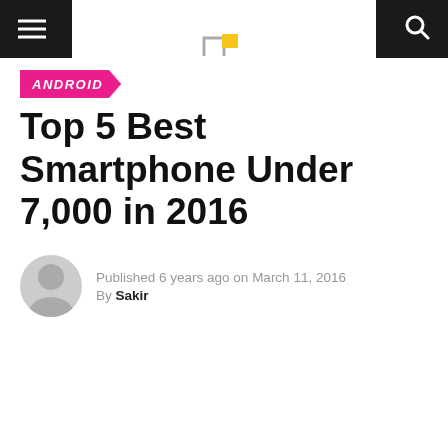ANDROID
Top 5 Best Smartphone Under 7,000 in 2016
Published 6 years ago on March 11, 2016
By Sakir